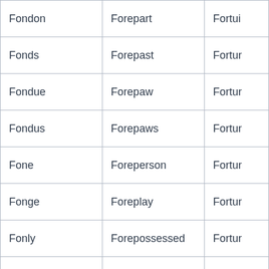| Fondon | Forepart | Fortui |
| Fonds | Forepast | Fortur |
| Fondue | Forepaw | Fortur |
| Fondus | Forepaws | Fortur |
| Fone | Foreperson | Fortur |
| Fonge | Foreplay | Fortur |
| Fonly | Forepossessed | Fortur |
| Fonne | Foreprize | Fortur |
| Font | Forepromised | Forty |
| Fontal | Forequarter | Forty- |